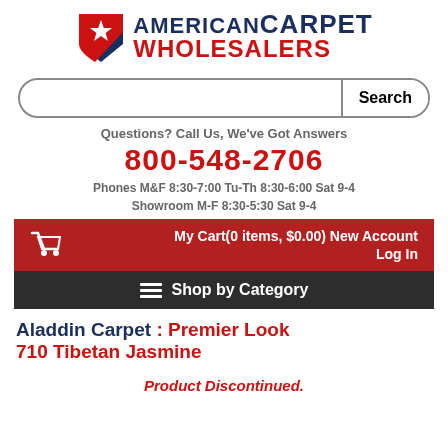[Figure (logo): American Carpet Wholesalers logo with blue/red shield and star, company name in navy and red]
[Figure (screenshot): Search bar with rounded border and Search button]
Questions? Call Us, We've Got Answers
800-548-2706
Phones M&F 8:30-7:00 Tu-Th 8:30-6:00 Sat 9-4
Showroom M-F 8:30-5:30 Sat 9-4
My Cart(0 items, $0.00) New Account
Log In
Shop by Category
Aladdin Carpet : Premier Look 710 Tibetan Jasmine
Product Discontinued.